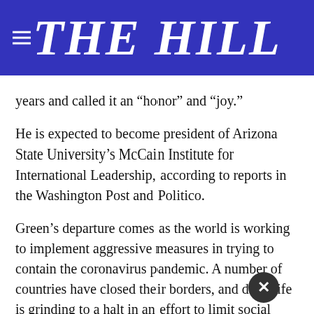THE HILL
years and called it an “honor” and “joy.”
He is expected to become president of Arizona State University’s McCain Institute for International Leadership, according to reports in the Washington Post and Politico.
Green’s departure comes as the world is working to implement aggressive measures in trying to contain the coronavirus pandemic. A number of countries have closed their borders, and daily life is grinding to a halt in an effort to limit social interactions that contribute to the rapidly spreading virus.
On Ma[advertisement overlay]mmit $37 m[advertisement overlay]us its